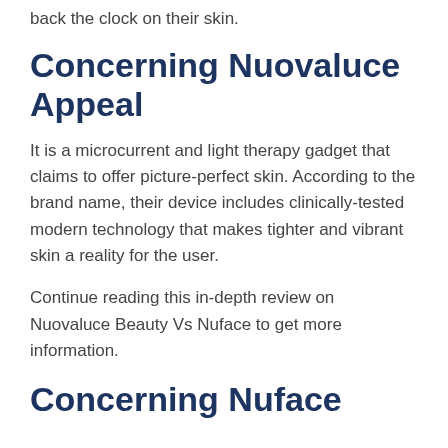back the clock on their skin.
Concerning Nuovaluce Appeal
It is a microcurrent and light therapy gadget that claims to offer picture-perfect skin. According to the brand name, their device includes clinically-tested modern technology that makes tighter and vibrant skin a reality for the user.
Continue reading this in-depth review on Nuovaluce Beauty Vs Nuface to get more information.
Concerning Nuface